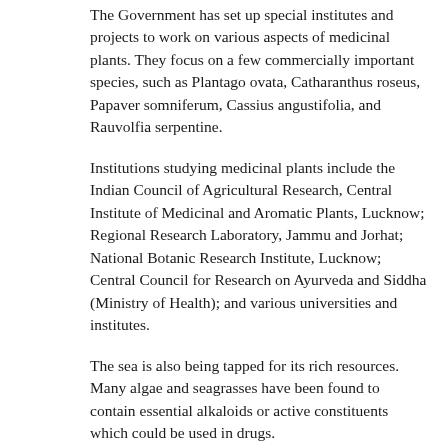The Government has set up special institutes and projects to work on various aspects of medicinal plants. They focus on a few commercially important species, such as Plantago ovata, Catharanthus roseus, Papaver somniferum, Cassius angustifolia, and Rauvolfia serpentine.
Institutions studying medicinal plants include the Indian Council of Agricultural Research, Central Institute of Medicinal and Aromatic Plants, Lucknow; Regional Research Laboratory, Jammu and Jorhat; National Botanic Research Institute, Lucknow; Central Council for Research on Ayurveda and Siddha (Ministry of Health); and various universities and institutes.
The sea is also being tapped for its rich resources. Many algae and seagrasses have been found to contain essential alkaloids or active constituents which could be used in drugs.
Conservation
Various methods must be used to help conserve our plant medicinal resources.